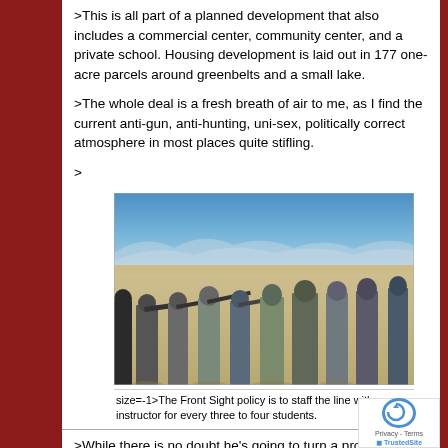>This is all part of a planned development that also includes a commercial center, community center, and a private school. Housing development is laid out in 177 one-acre parcels around greenbelts and a small lake.
>The whole deal is a fresh breath of air to me, as I find the current anti-gun, anti-hunting, uni-sex, politically correct atmosphere in most places quite stifling.
>
[Figure (photo): Outdoor shooting range photo showing a line of people aiming rifles, with sand/desert terrain and blue sky in background.]
size=-1>The Front Sight policy is to staff the line with instructor for every three to four students.
>While there is no doubt he's going to turn a pro... the deal, Piazza is to be congratulated for his...